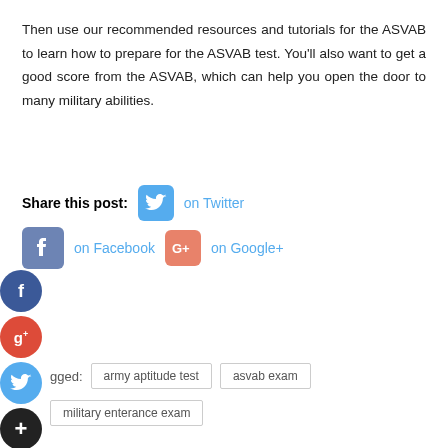Then use our recommended resources and tutorials for the ASVAB to learn how to prepare for the ASVAB test. You'll also want to get a good score from the ASVAB, which can help you open the door to many military abilities.
Share this post: on Twitter on Facebook on Google+
army aptitude test
asvab exam
military enterance exam